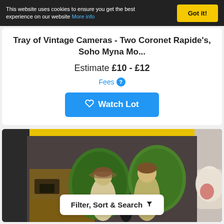This website uses cookies to ensure you get the best experience on our website More info  Got it!
Tray of Vintage Cameras - Two Coronet Rapide's, Soho Myna Mo...
Estimate £10 - £12
Fees ?
Watch Lot
[Figure (photo): Photo of ceramic figurines (two figures with hats) in a box, with green decorative plates and other items visible]
Filter, Sort & Search